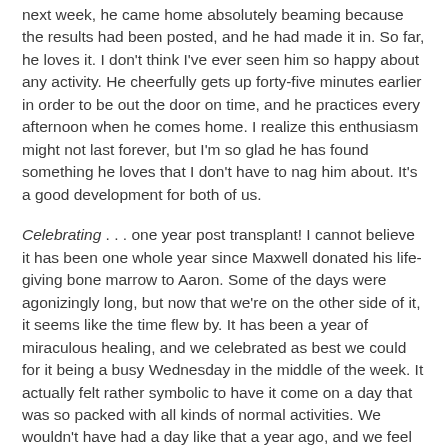next week, he came home absolutely beaming because the results had been posted, and he had made it in. So far, he loves it. I don't think I've ever seen him so happy about any activity. He cheerfully gets up forty-five minutes earlier in order to be out the door on time, and he practices every afternoon when he comes home. I realize this enthusiasm might not last forever, but I'm so glad he has found something he loves that I don't have to nag him about. It's a good development for both of us.
Celebrating . . . one year post transplant! I cannot believe it has been one whole year since Maxwell donated his life-giving bone marrow to Aaron. Some of the days were agonizingly long, but now that we're on the other side of it, it seems like the time flew by. It has been a year of miraculous healing, and we celebrated as best we could for it being a busy Wednesday in the middle of the week. It actually felt rather symbolic to have it come on a day that was so packed with all kinds of normal activities. We wouldn't have had a day like that a year ago, and we feel so blessed to have our lives come so full circle in such a short time. I plan to write up some introspective thoughts after Aaron does all of his baseline tests again next month.